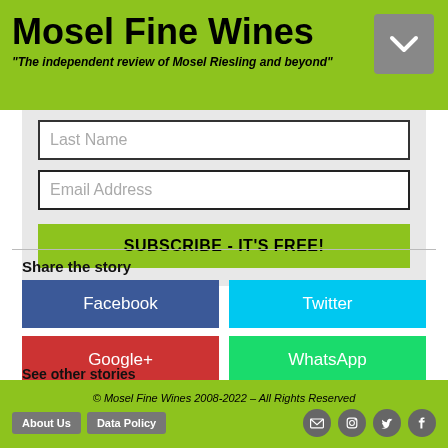Mosel Fine Wines — "The independent review of Mosel Riesling and beyond"
Last Name
Email Address
SUBSCRIBE - IT'S FREE!
Share the story
Facebook
Twitter
Google+
WhatsApp
See other stories
Past Mosel Fine Wines publications >>>
Articles on Mature Riesling >>>
© Mosel Fine Wines 2008-2022 – All Rights Reserved | About Us | Data Policy